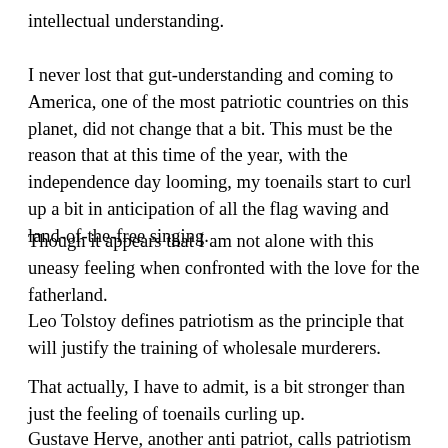intellectual understanding.
I never lost that gut-understanding and coming to America, one of the most patriotic countries on this planet, did not change that a bit. This must be the reason that at this time of the year, with the independence day looming, my toenails start to curl up a bit in anticipation of all the flag waving and land-of-the-free singing.
Though it appears that I am not alone with this uneasy feeling when confronted with the love for the fatherland.
Leo Tolstoy defines patriotism as the principle that will justify the training of wholesale murderers.
That actually, I have to admit, is a bit stronger than just the feeling of toenails curling up.
Gustave Herve, another anti patriot, calls patriotism a